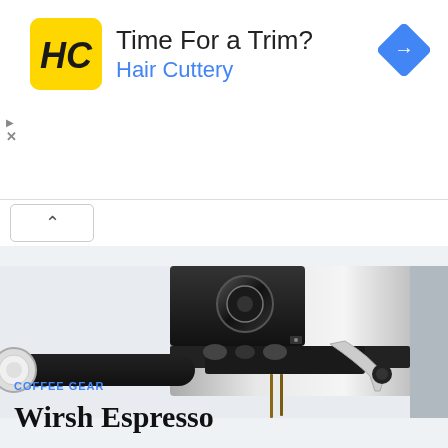[Figure (other): Advertisement banner for Hair Cuttery with yellow HC logo, text 'Time For a Trim?' and 'Hair Cuttery' in blue, and a blue navigation diamond icon on the right]
[Figure (photo): Close-up photo of a stainless steel espresso machine showing the portafilter handle, group head, and steam wand against a light background]
COFFEE GEAR
Wirsh Espresso